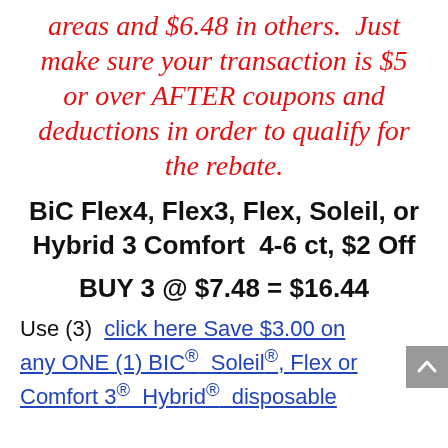areas and $6.48 in others. Just make sure your transaction is $5 or over AFTER coupons and deductions in order to qualify for the rebate.
BiC Flex4, Flex3, Flex, Soleil, or Hybrid 3 Comfort  4-6 ct, $2 Off
BUY 3 @ $7.48 = $16.44
Use (3)  click here Save $3.00 on any ONE (1) BIC® Soleil®, Flex or Comfort 3® Hybrid® disposable